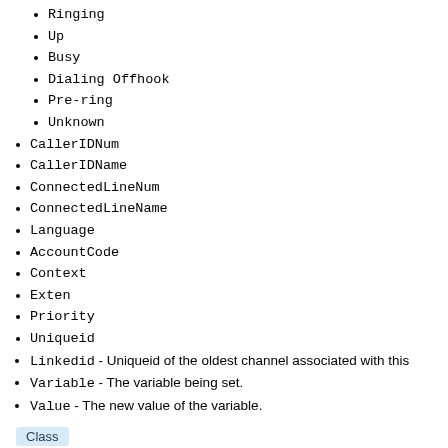Ringing
Up
Busy
Dialing Offhook
Pre-ring
Unknown
CallerIDNum
CallerIDName
ConnectedLineNum
ConnectedLineName
Language
AccountCode
Context
Exten
Priority
Uniqueid
Linkedid - Uniqueid of the oldest channel associated with this
Variable - The variable being set.
Value - The new value of the variable.
Class